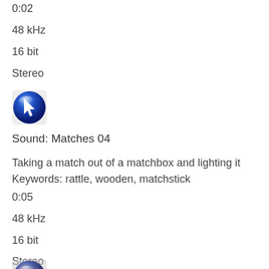0:02
48 kHz
16 bit
Stereo
[Figure (logo): Blue glossy circular button icon with white marker/cursor symbol]
Sound: Matches 04
Taking a match out of a matchbox and lighting it
Keywords: rattle, wooden, matchstick
0:05
48 kHz
16 bit
Stereo
[Figure (logo): Partially visible blue/grey circular button icon at bottom of page]